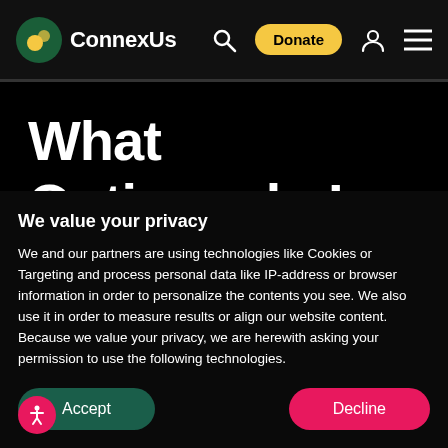ConnexUs — navigation bar with logo, search, Donate button, user icon, menu icon
What Options do I
We value your privacy
We and our partners are using technologies like Cookies or Targeting and process personal data like IP-address or browser information in order to personalize the contents you see. We also use it in order to measure results or align our website content. Because we value your privacy, we are herewith asking your permission to use the following technologies.
Accept
Decline